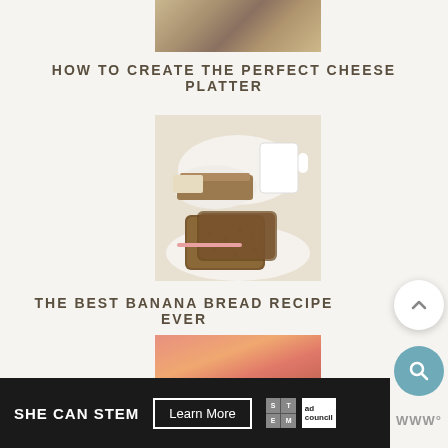[Figure (photo): Partial view of a cheese platter photo at top of page]
HOW TO CREATE THE PERFECT CHEESE PLATTER
[Figure (photo): Photo of sliced banana bread on a white plate with a white cup of milk in background]
THE BEST BANANA BREAD RECIPE EVER
[Figure (photo): Photo showing sliced salmon or smoked fish with orange slices]
[Figure (other): Scroll-to-top circular button with upward chevron]
[Figure (other): Search circular button with magnifying glass icon]
SHE CAN STEM  Learn More
[Figure (logo): STEM logo grid and Ad Council logo]
WWW°